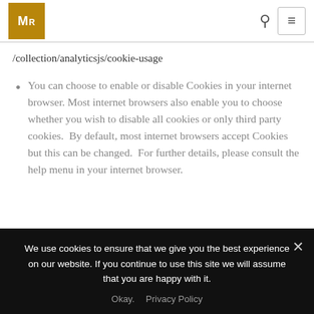MR logo, search icon, menu button
/collection/analyticsjs/cookie-usage
You can choose to enable or disable Cookies in your internet browser. Most internet browsers also enable you to choose whether you wish to disable all cookies or only third party cookies.  By default, most internet browsers accept Cookies but this can be changed.  For further details, please consult the help menu in your internet browser.
We use cookies to ensure that we give you the best experience on our website. If you continue to use this site we will assume that you are happy with it.
Okay.   Privacy Policy